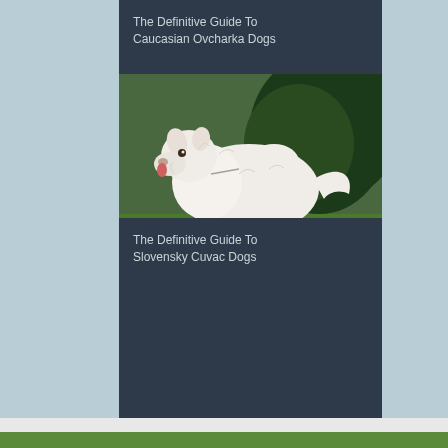The Definitive Guide To Caucasian Ovcharka Dogs
[Figure (photo): A white fluffy Slovensky Cuvac dog standing on grass with green trees in the background]
The Definitive Guide To Slovensky Cuvac Dogs